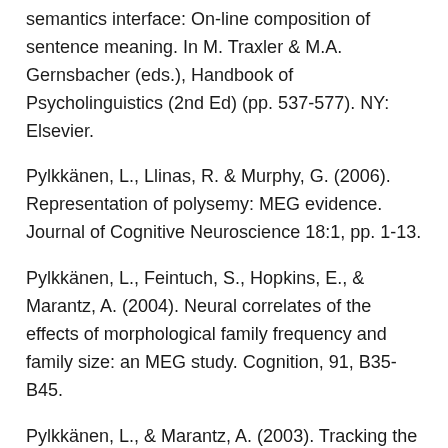semantics interface: On-line composition of sentence meaning. In M. Traxler & M.A. Gernsbacher (eds.), Handbook of Psycholinguistics (2nd Ed) (pp. 537-577). NY: Elsevier.
Pylkkänen, L., Llinas, R. & Murphy, G. (2006). Representation of polysemy: MEG evidence. Journal of Cognitive Neuroscience 18:1, pp. 1-13.
Pylkkänen, L., Feintuch, S., Hopkins, E., & Marantz, A. (2004). Neural correlates of the effects of morphological family frequency and family size: an MEG study. Cognition, 91, B35-B45.
Pylkkänen, L., & Marantz, A. (2003). Tracking the time course of word recognition with MEG.